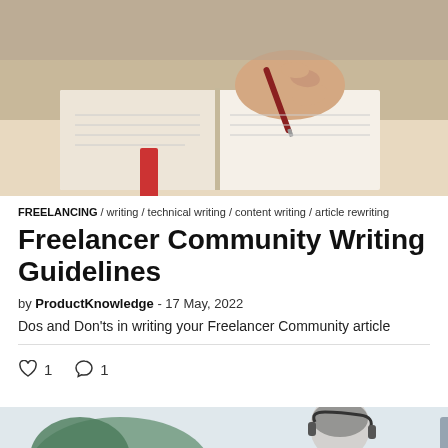[Figure (photo): Close-up photo of a hand holding a pen and writing in an open notebook, with a red bookmark visible.]
FREELANCING / writing / technical writing / content writing / article rewriting
Freelancer Community Writing Guidelines
by ProductKnowledge - 17 May, 2022
Dos and Don'ts in writing your Freelancer Community article
♡ 1   ○ 1
[Figure (photo): Partial photo of a person sitting at a desk, appears to be in a work or office setting.]